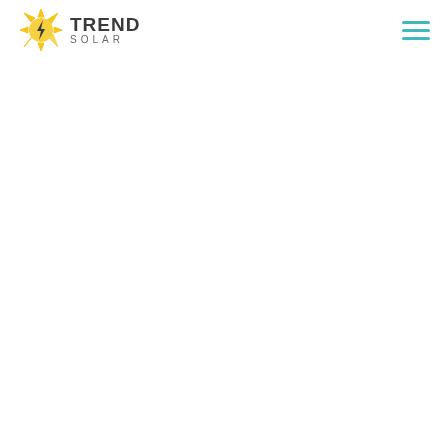TREND SOLAR — navigation header with logo and hamburger menu